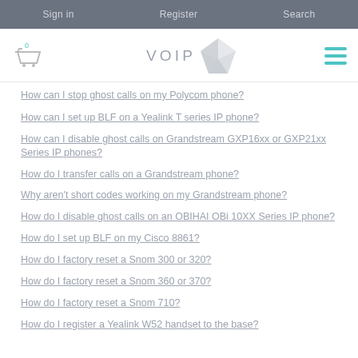Sign in   Register   Search
[Figure (logo): VOIP supply logo with shopping cart icon and hamburger menu]
How can I stop ghost calls on my Polycom phone?
How can I set up BLF on a Yealink T series IP phone?
How can I disable ghost calls on Grandstream GXP16xx or GXP21xx Series IP phones?
How do I transfer calls on a Grandstream phone?
Why aren't short codes working on my Grandstream phone?
How do I disable ghost calls on an OBIHAI OBi 10XX Series IP phone?
How do I set up BLF on my Cisco 8861?
How do I factory reset a Snom 300 or 320?
How do I factory reset a Snom 360 or 370?
How do I factory reset a Snom 710?
How do I register a Yealink W52 handset to the base?